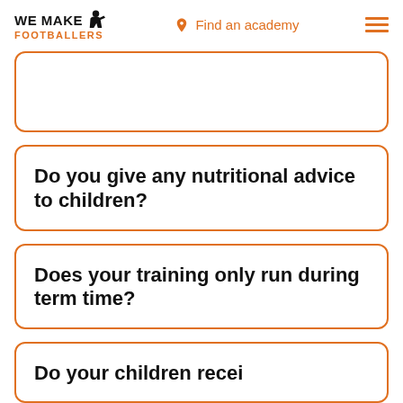WE MAKE FOOTBALLERS | Find an academy
Do you give any nutritional advice to children?
Does your training only run during term time?
(partially visible question)